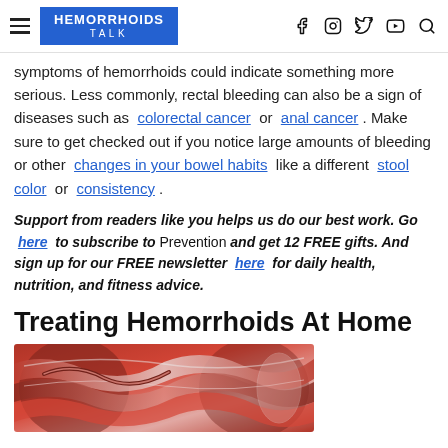HEMORRHOIDS TALK
symptoms of hemorrhoids could indicate something more serious. Less commonly, rectal bleeding can also be a sign of diseases such as colorectal cancer or anal cancer. Make sure to get checked out if you notice large amounts of bleeding or other changes in your bowel habits like a different stool color or consistency.
Support from readers like you helps us do our best work. Go here to subscribe to Prevention and get 12 FREE gifts. And sign up for our FREE newsletter here for daily health, nutrition, and fitness advice.
Treating Hemorrhoids At Home
[Figure (photo): Close-up medical illustration or photo of colorectal tissue, showing red and pink folds of intestinal lining.]